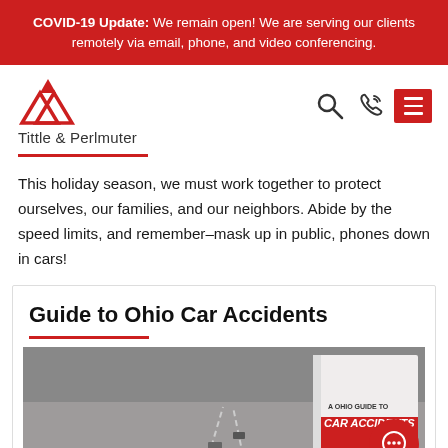COVID-19 Update: We remain open! We are serving our clients remotely via email, phone, and video conferencing.
[Figure (logo): Tittle & Perlmuter law firm logo with red triangle icon and firm name]
This holiday season, we must work together to protect ourselves, our families, and our neighbors. Abide by the speed limits, and remember—mask up in public, phones down in cars!
Guide to Ohio Car Accidents
[Figure (photo): A Ohio Guide to Car Accidents book cover showing a highway scene with red accent design]